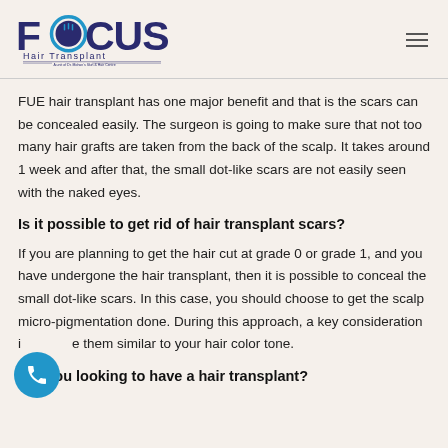Focus Hair Transplant
FUE hair transplant has one major benefit and that is the scars can be concealed easily. The surgeon is going to make sure that not too many hair grafts are taken from the back of the scalp. It takes around 1 week and after that, the small dot-like scars are not easily seen with the naked eyes.
Is it possible to get rid of hair transplant scars?
If you are planning to get the hair cut at grade 0 or grade 1, and you have undergone the hair transplant, then it is possible to conceal the small dot-like scars. In this case, you should choose to get the scalp micro-pigmentation done. During this approach, a key consideration i... e them similar to your hair color tone.
Are you looking to have a hair transplant?